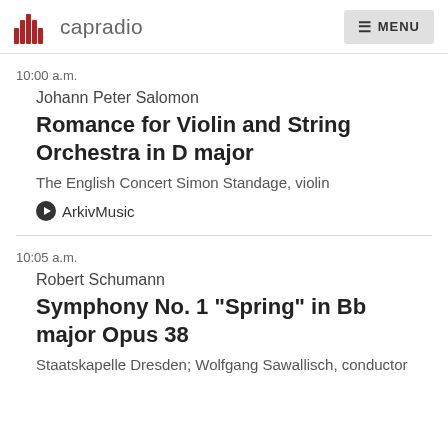capradio  MENU
10:00 a.m.
Johann Peter Salomon
Romance for Violin and String Orchestra in D major
The English Concert Simon Standage, violin
ArkivMusic
10:05 a.m.
Robert Schumann
Symphony No. 1 "Spring" in Bb major Opus 38
Staatskapelle Dresden; Wolfgang Sawallisch, conductor